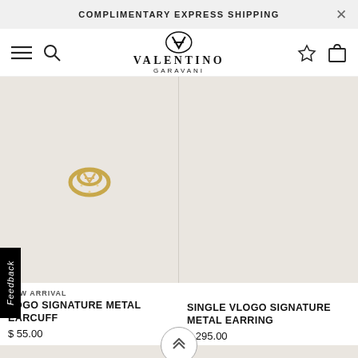COMPLIMENTARY EXPRESS SHIPPING
[Figure (logo): Valentino Garavani logo with V interlocked symbol, brand name VALENTINO GARAVANI]
[Figure (photo): Gold VLOGO Signature Metal Earcuff jewelry on light beige background]
[Figure (photo): Empty product image slot on light beige background]
NEW ARRIVAL
LOGO SIGNATURE METAL EARCUFF
$ 55.00
SINGLE VLOGO SIGNATURE METAL EARRING
$ 295.00